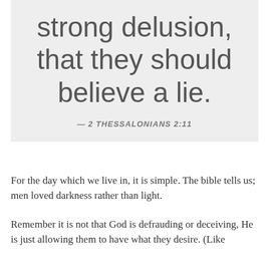strong delusion, that they should believe a lie.
— 2 THESSALONIANS 2:11
For the day which we live in, it is simple. The bible tells us; men loved darkness rather than light.
Remember it is not that God is defrauding or deceiving, He is just allowing them to have what they desire. (Like